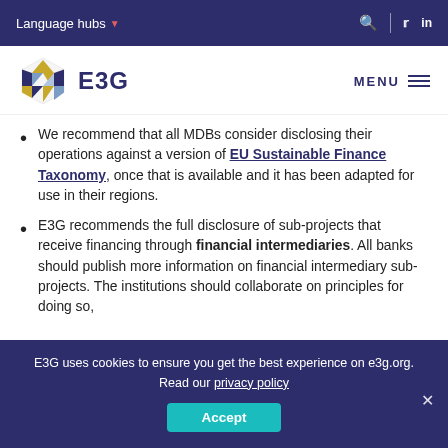Language hubs
[Figure (logo): E3G hexagonal logo with triangular geometric pattern in yellow, blue, and dark purple colors, next to bold text 'E3G']
We recommend that all MDBs consider disclosing their operations against a version of EU Sustainable Finance Taxonomy, once that is available and it has been adapted for use in their regions.
E3G recommends the full disclosure of sub-projects that receive financing through financial intermediaries. All banks should publish more information on financial intermediary sub-projects. The institutions should collaborate on principles for doing so,
E3G uses cookies to ensure you get the best experience on e3g.org. Read our privacy policy
Accept